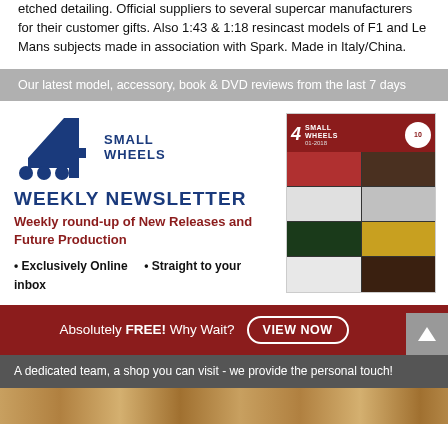etched detailing. Official suppliers to several supercar manufacturers for their customer gifts. Also 1:43 & 1:18 resincast models of F1 and Le Mans subjects made in association with Spark. Made in Italy/China.
Our latest model, accessory, book & DVD reviews from the last 7 days
[Figure (illustration): 4 Small Wheels weekly newsletter advertisement with logo, magazine cover image showing model cars, text about weekly round-up of new releases and future production, exclusively online and straight to your inbox bullets, and a red banner with VIEW NOW button]
A dedicated team, a shop you can visit - we provide the personal touch!